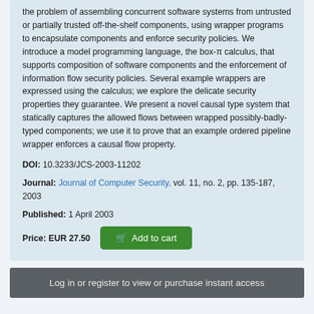the problem of assembling concurrent software systems from untrusted or partially trusted off-the-shelf components, using wrapper programs to encapsulate components and enforce security policies. We introduce a model programming language, the box-π calculus, that supports composition of software components and the enforcement of information flow security policies. Several example wrappers are expressed using the calculus; we explore the delicate security properties they guarantee. We present a novel causal type system that statically captures the allowed flows between wrapped possibly-badly-typed components; we use it to prove that an example ordered pipeline wrapper enforces a causal flow property.
DOI: 10.3233/JCS-2003-11202
Journal: Journal of Computer Security, vol. 11, no. 2, pp. 135-187, 2003
Published: 1 April 2003
Price: EUR 27.50  Add to cart
Log in or register to view or purchase instant access